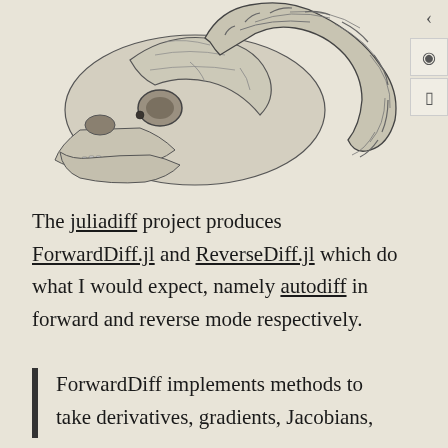[Figure (illustration): Detailed black and white pencil drawing of a ram (sheep) skull with curling horns, viewed from the side, on a beige/cream background.]
The juliadiff project produces ForwardDiff.jl and ReverseDiff.jl which do what I would expect, namely autodiff in forward and reverse mode respectively.
ForwardDiff implements methods to take derivatives, gradients, Jacobians,